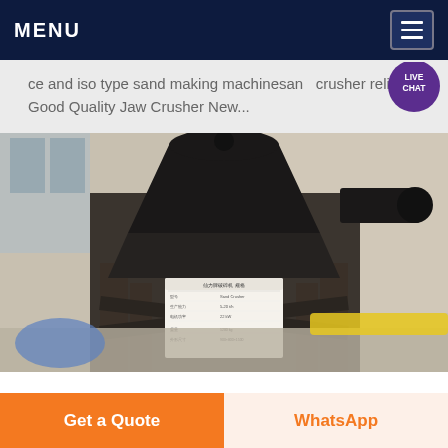MENU
ce and iso type sand making machinesand crusher reli Good Quality Jaw Crusher New...
[Figure (photo): Photo of an industrial sand making machine or jaw crusher mounted on a metal frame stand, with a specification label/plate visible on the machine body. The machine is photographed indoors on a gravel-covered floor with colorful pipes/tubes visible in the background.]
Get a Quote
WhatsApp